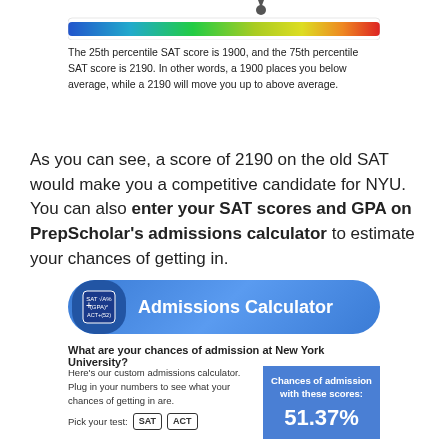[Figure (infographic): Horizontal gradient color bar (blue to green to yellow to orange to red) with a pin/marker positioned near the right-center area, indicating a score position.]
The 25th percentile SAT score is 1900, and the 75th percentile SAT score is 2190. In other words, a 1900 places you below average, while a 2190 will move you up to above average.
As you can see, a score of 2190 on the old SAT would make you a competitive candidate for NYU. You can also enter your SAT scores and GPA on PrepScholar's admissions calculator to estimate your chances of getting in.
[Figure (infographic): Admissions Calculator banner with blue rounded rectangle background, a small icon showing SAT formula, and white bold text reading 'Admissions Calculator']
What are your chances of admission at New York University?
Here's our custom admissions calculator. Plug in your numbers to see what your chances of getting in are.
Pick your test: SAT ACT
Chances of admission with these scores: 51.37%